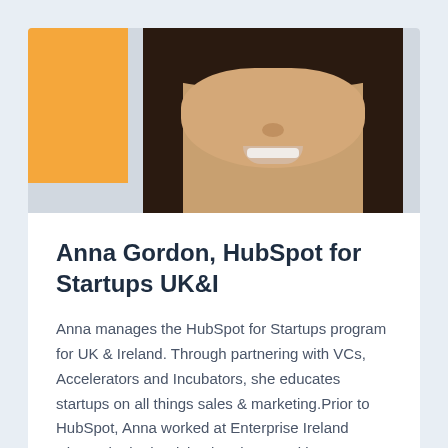[Figure (photo): Portrait photo of Anna Gordon, partially cropped, showing face and dark hair, with an orange decorative block to the left]
Anna Gordon, HubSpot for Startups UK&I
Anna manages the HubSpot for Startups program for UK & Ireland. Through partnering with VCs, Accelerators and Incubators, she educates startups on all things sales & marketing.Prior to HubSpot, Anna worked at Enterprise Ireland where she both advised and secured investment for Irish tech startups and